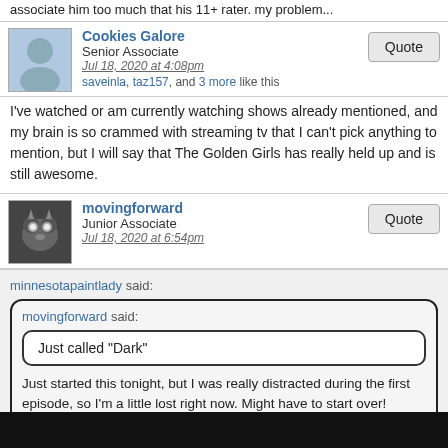associate him too much that his 11+ rater. my problem...
Cookies Galore
Senior Associate
Jul 18, 2020 at 4:08pm
saveinla, taz157, and 3 more like this
I've watched or am currently watching shows already mentioned, and my brain is so crammed with streaming tv that I can't pick anything to mention, but I will say that The Golden Girls has really held up and is still awesome.
movingforward
Junior Associate
Jul 18, 2020 at 6:54pm
minnesotapaintlady said:
movingforward said:
Just called "Dark"
Just started this tonight, but I was really distracted during the first episode, so I'm a little lost right now.  Might have to start over!